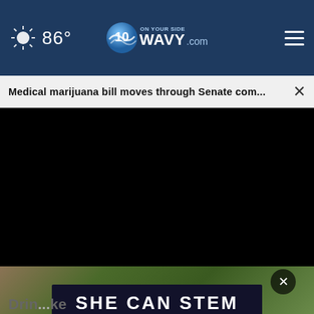86° WAVY.com On Your Side
Medical marijuana bill moves through Senate com... ×
[Figure (screenshot): Video player showing a black screen with playback controls including play button, mute button, timestamp 00:00, captions button, and fullscreen button. A progress bar with a white dot indicator at the far left is shown above the controls.]
[Figure (photo): Partial photo of drinks in glasses with green vegetables/ingredients, partially visible below the video player.]
SHE CAN STEM
Drin... ke Crazy